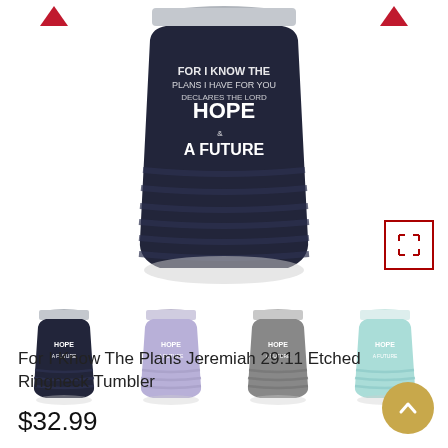[Figure (photo): Close-up of a navy blue ribbed stainless steel tumbler with white text reading 'A FUTURE' and 'HOPE' on the front. Red downward-pointing heart/arrow icons on left and right. An expand icon (red border square with arrows) in the lower right. Below are four smaller thumbnail images of the same tumbler in different colors: navy blue, purple/lavender, gray, and mint/teal.]
For I Know The Plans Jeremiah 29:11 Etched Ringneck Tumbler
$32.99